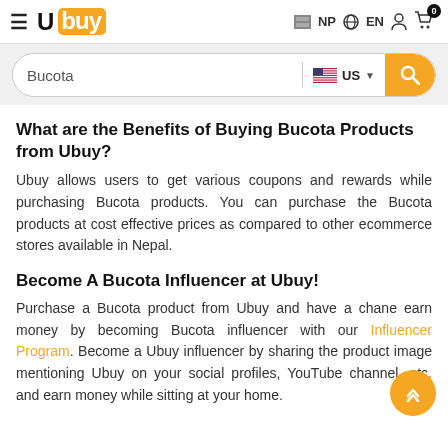Ubuy — NP EN (navigation header with logo, search country selector, cart)
[Figure (screenshot): Ubuy logo with hamburger menu, NP/EN locale selector, cart icon with 0 badge]
[Figure (screenshot): Search bar with text 'Bucota', US flag country selector, and orange search button]
What are the Benefits of Buying Bucota Products from Ubuy?
Ubuy allows users to get various coupons and rewards while purchasing Bucota products. You can purchase the Bucota products at cost effective prices as compared to other ecommerce stores available in Nepal.
Become A Bucota Influencer at Ubuy!
Purchase a Bucota product from Ubuy and have a chance to earn money by becoming Bucota influencer with our Influencer Program. Become a Ubuy influencer by sharing the product image mentioning Ubuy on your social profiles, YouTube channel, etc. and earn money while sitting at your home.